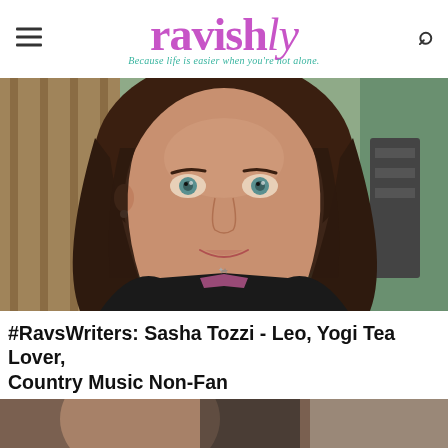ravishly — Because life is easier when you're not alone.
[Figure (photo): Close-up selfie of a woman with long brown hair and blue-green eyes, wearing a dark jacket, smiling at the camera outdoors.]
#RavsWriters: Sasha Tozzi - Leo, Yogi Tea Lover, Country Music Non-Fan
[Figure (photo): Partial photo at bottom of page, cropped.]